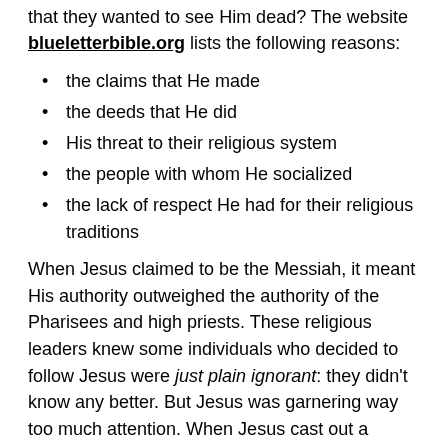that they wanted to see Him dead? The website blueletterbible.org lists the following reasons:
the claims that He made
the deeds that He did
His threat to their religious system
the people with whom He socialized
the lack of respect He had for their religious traditions
When Jesus claimed to be the Messiah, it meant His authority outweighed the authority of the Pharisees and high priests. These religious leaders knew some individuals who decided to follow Jesus were just plain ignorant: they didn't know any better. But Jesus was garnering way too much attention. When Jesus cast out a demon from a man deaf and blind since birth, the Pharisees accused Him of doing so through the power of Beelzebul, the prince of demons. They wanted to discredit His ministry. Knowing their thoughts, Jesus said to the Pharisees, "Every kingdom divided against itself is laid waste, and no city or house divided against itself will